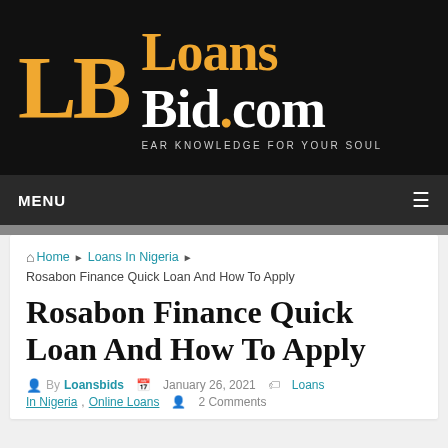[Figure (logo): LoansBid.com logo on black background with orange LB letters and tagline EAR KNOWLEDGE FOR YOUR SOUL]
MENU
Home › Loans In Nigeria › Rosabon Finance Quick Loan And How To Apply
Rosabon Finance Quick Loan And How To Apply
By Loansbids   January 26, 2021   Loans In Nigeria, Online Loans   2 Comments